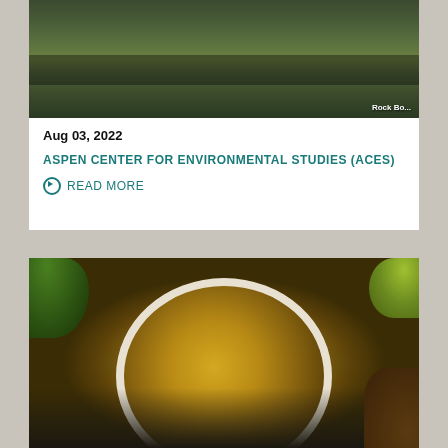[Figure (photo): Outdoor park or field scene with dark fencing and green vegetation, partially cropped at top. Watermark text 'Rock Bo...' visible at bottom right.]
Aug 03, 2022
ASPEN CENTER FOR ENVIRONMENTAL STUDIES (ACES)
READ MORE
[Figure (photo): Close-up overhead view of a white bowl filled with green chile stew with chunks of meat, surrounded by fresh cilantro on the left and lime wedges on the right, on a dark blue-gray textured background.]